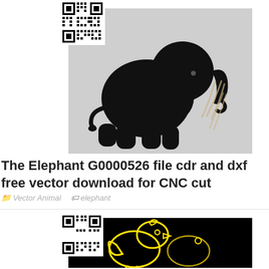[Figure (photo): Black silhouette of a baby elephant with trunk raised, on a light gray background with decorative dried grass in the lower right. A QR code is overlaid in the upper left corner of the image.]
The Elephant G0000526 file cdr and dxf free vector download for CNC cut
Vector Animal   elephant
[Figure (photo): Neon-style yellow line art of a chick/bird on a black background. A QR code is overlaid in the upper left corner of the image.]